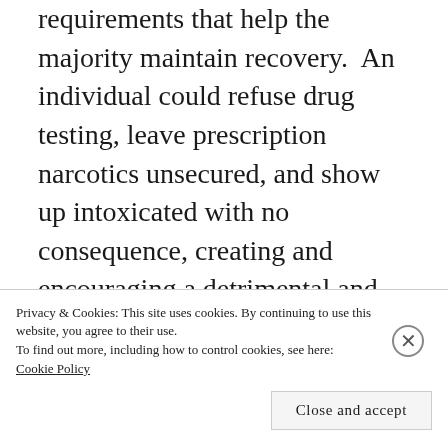requirements that help the majority maintain recovery.  An individual could refuse drug testing, leave prescription narcotics unsecured, and show up intoxicated with no consequence, creating and encouraging a detrimental and dangerous environment for others.  In short, if DBC were to operate as a rooming house, rather than as a single household that exercises democratic,
Privacy & Cookies: This site uses cookies. By continuing to use this website, you agree to their use.
To find out more, including how to control cookies, see here: Cookie Policy
Close and accept